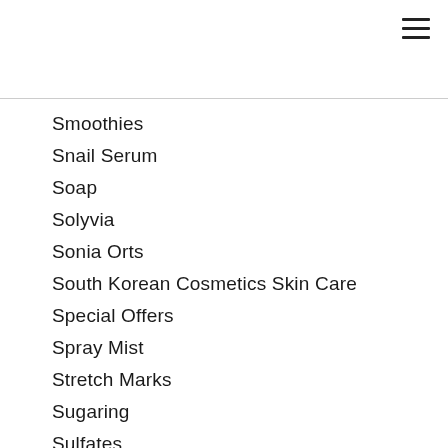Smoothies
Snail Serum
Soap
Solyvia
Sonia Orts
South Korean Cosmetics Skin Care
Special Offers
Spray Mist
Stretch Marks
Sugaring
Sulfates
Sunscreen
Sunscreens
Superfoods
Sustainable
Tanning
Tattoo Removal